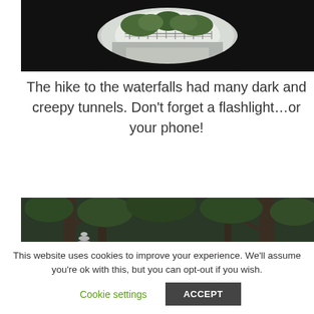[Figure (photo): Dark tunnel with light visible at the far end, showing a path with metal railings and greenery beyond]
The hike to the waterfalls had many dark and creepy tunnels. Don’t forget a flashlight…or your phone!
[Figure (photo): Outdoor nature scene showing stacked stone cairns and tree branches against a dark green forest background]
This website uses cookies to improve your experience. We’ll assume you’re ok with this, but you can opt-out if you wish.